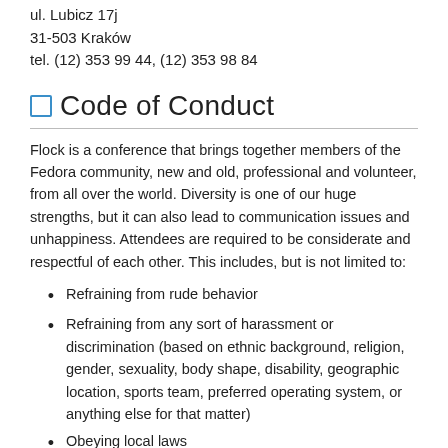ul. Lubicz 17j
31-503 Kraków
tel. (12) 353 99 44, (12) 353 98 84
Code of Conduct
Flock is a conference that brings together members of the Fedora community, new and old, professional and volunteer, from all over the world. Diversity is one of our huge strengths, but it can also lead to communication issues and unhappiness. Attendees are required to be considerate and respectful of each other. This includes, but is not limited to:
Refraining from rude behavior
Refraining from any sort of harassment or discrimination (based on ethnic background, religion, gender, sexuality, body shape, disability, geographic location, sports team, preferred operating system, or anything else for that matter)
Obeying local laws
Attendees who are in violation of this policy may be subject to